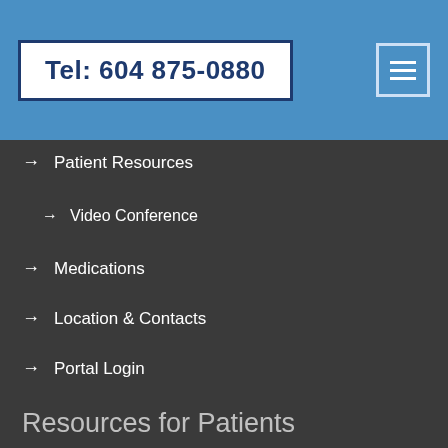Tel: 604 875-0880
→ Patient Resources
→ Video Conference
→ Medications
→ Location & Contacts
→ Portal Login
Resources for Patients
→ Rheumatoid Arthritis
→ Ankylosing Spondylitis